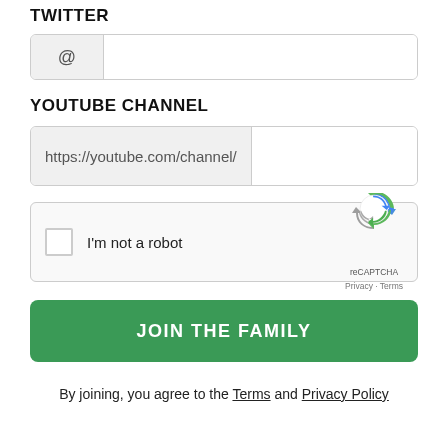TWITTER
[Figure (screenshot): Twitter @ handle input field with @ prefix icon and empty text input]
YOUTUBE CHANNEL
[Figure (screenshot): YouTube channel input field with https://youtube.com/channel/ placeholder and empty text input]
[Figure (screenshot): reCAPTCHA widget with checkbox, I'm not a robot text, and reCAPTCHA logo with Privacy and Terms links]
[Figure (screenshot): Green JOIN THE FAMILY button]
By joining, you agree to the Terms and Privacy Policy